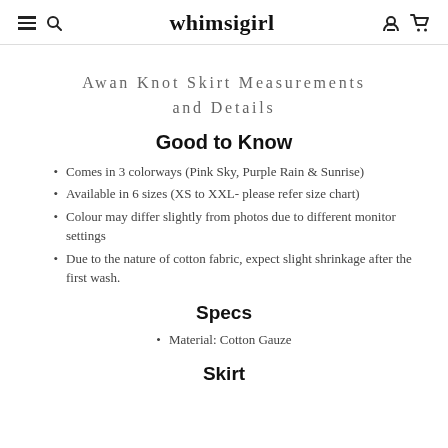whimsigirl
Awan Knot Skirt Measurements and Details
Good to Know
Comes in 3 colorways (Pink Sky, Purple Rain & Sunrise)
Available in 6 sizes (XS to XXL- please refer size chart)
Colour may differ slightly from photos due to different monitor settings
Due to the nature of cotton fabric, expect slight shrinkage after the first wash.
Specs
Material: Cotton Gauze
Skirt